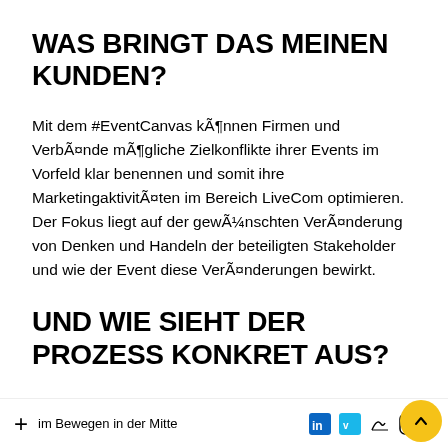WAS BRINGT DAS MEINEN KUNDEN?
Mit dem #EventCanvas können Firmen und Verbände mögliche Zielkonflikte ihrer Events im Vorfeld klar benennen und somit ihre Marketingaktivitäten im Bereich LiveCom optimieren. Der Fokus liegt auf der gewünschten Veränderung von Denken und Handeln der beteiligten Stakeholder und wie der Event diese Veränderungen bewirkt.
UND WIE SIEHT DER PROZESS KONKRET AUS?
Sie und Ihr Team treffen sich im Design Raum. Der hat viel Platz zum Bewegen in der Mitte haben ein Stakeholder Canvas, je 2 Empathy Maps und ein ...